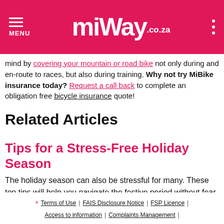MENU | MiWay .co.za | (menu dots)
mind by covering your mountain or road bike not only during and en-route to races, but also during training. Why not try MiBike insurance today? Request a call back to complete an obligation free bicycle insurance quote!
Related Articles
Tips for a Stress-Free Holiday Season
The holiday season can also be stressful for many. These top tips will help you navigate the festive period without fear of burnout
* Terms of Use | FAIS Disclosure Notice | FSP Licence | Access to information | Complaints Management |